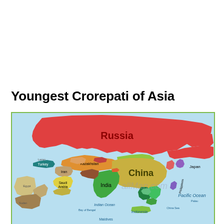Youngest Crorepati of Asia
[Figure (map): Political map of Asia showing countries including Russia (red, largest), China (olive/yellow), India (green), Kazakhstan (orange/tan), Mongolia (light green), Turkey (teal), Iran (tan), Saudi Arabia (yellow), Japan (purple), Philippines, and others. Oceans labeled: Arctic Ocean, Pacific Ocean, Indian Ocean. Watermark: allMap.com]